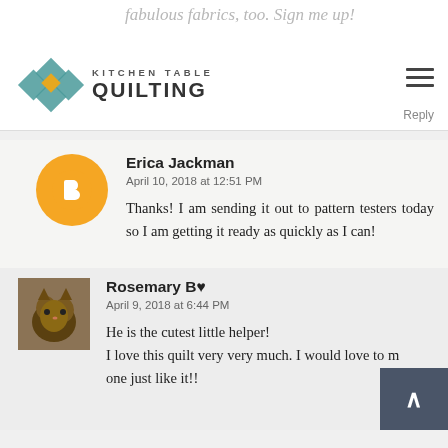Kitchen Table Quilting
fabulous fabrics, too. Sign me up!
Reply
Erica Jackman
April 10, 2018 at 12:51 PM
Thanks! I am sending it out to pattern testers today so I am getting it ready as quickly as I can!
Rosemary B♥
April 9, 2018 at 6:44 PM
He is the cutest little helper!
I love this quilt very very much. I would love to make one just like it!!